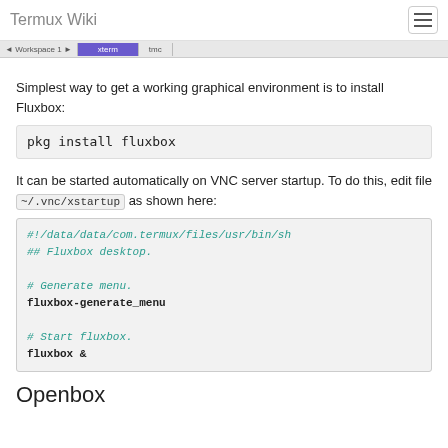Termux Wiki
[Figure (screenshot): Browser tab bar showing Workspace 1, xterm, and tmc tabs]
Simplest way to get a working graphical environment is to install Fluxbox:
pkg install fluxbox
It can be started automatically on VNC server startup. To do this, edit file ~/.vnc/xstartup as shown here:
#!/data/data/com.termux/files/usr/bin/sh
## Fluxbox desktop.

# Generate menu.
fluxbox-generate_menu

# Start fluxbox.
fluxbox &
Openbox